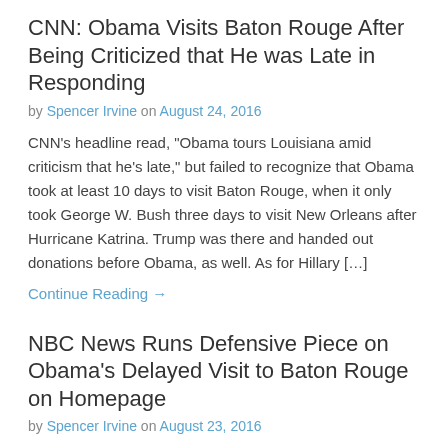CNN: Obama Visits Baton Rouge After Being Criticized that He was Late in Responding
by Spencer Irvine on August 24, 2016
CNN’s headline read, “Obama tours Louisiana amid criticism that he’s late,” but failed to recognize that Obama took at least 10 days to visit Baton Rouge, when it only took George W. Bush three days to visit New Orleans after Hurricane Katrina. Trump was there and handed out donations before Obama, as well. As for Hillary […]
Continue Reading →
NBC News Runs Defensive Piece on Obama’s Delayed Visit to Baton Rouge on Homepage
by Spencer Irvine on August 23, 2016
On the homepage of NBC News, the feature article was entitled, “White House Fires Back at Critics of Louisiana Response.” It was defensive in tone and did not mention how Obama delayed his visit to the flooded city in Louisiana for at least ten days, due to his vacation in Martha’s Vineyard. Also, the article […]